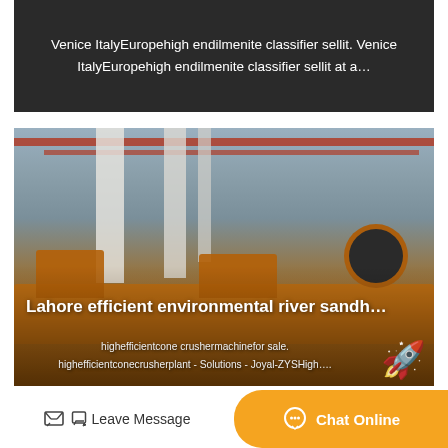Venice ItalyEuropehigh endilmenite classifier sellit. Venice ItalyEuropehigh endilmenite classifier sellit at a…
[Figure (photo): Industrial orange mining or crushing machinery in a large factory/warehouse setting with concrete columns and overhead cranes. Text overlay reads: Lahore efficient environmental river sandh… and highefficientcone crushermachinefor sale. highefficientconecrusherplant - Solutions - Joyal-ZYSHigh… with a rocket emoji overlaid.]
Lahore efficient environmental river sandh…
highefficientcone crushermachinefor sale. highefficientconecrusherplant - Solutions - Joyal-ZYSHigh…
Leave Message
Chat Online